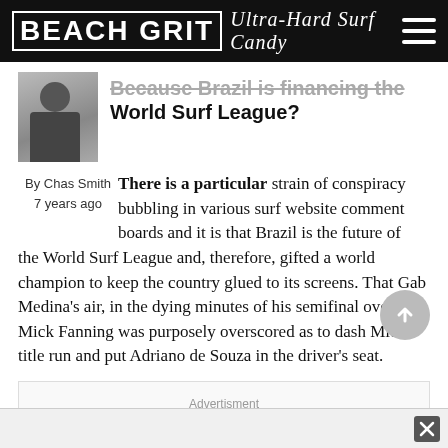BEACH GRIT Ultra-Hard Surf Candy
Because Brazil is financing the World Surf League?
By Chas Smith
7 years ago
There is a particular strain of conspiracy bubbling in various surf website comment boards and it is that Brazil is the future of the World Surf League and, therefore, gifted a world champion to keep the country glued to its screens. That Gab Medina's air, in the dying minutes of his semifinal over Mick Fanning was purposely overscored as to dash Mick's title run and put Adriano de Souza in the driver's seat.
Advertisment